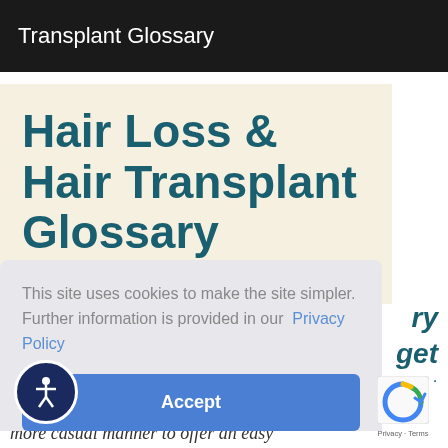Transplant Glossary
Hair Loss & Hair Transplant Glossary
This site uses cookies to make the site simpler. Further information is provided in our  Privacy Policy
Accept
more casual manner to offer an easy